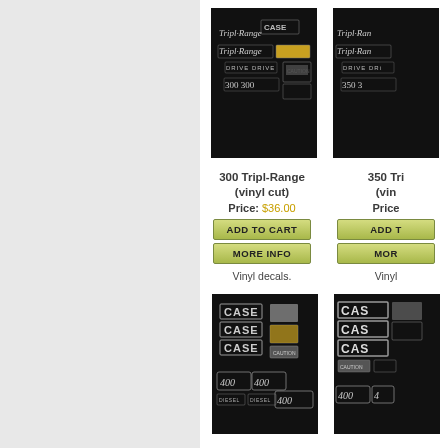[Figure (photo): 300 Tripl-Range vinyl decal set on black background showing multiple stickers]
300 Tripl-Range (vinyl cut)
Price: $36.00
ADD TO CART
MORE INFO
Vinyl decals.
[Figure (photo): 350 Tripl-Range vinyl decal set on black background (partially visible)]
350 Tri... (vin...
Price: ...
ADD T...
MOR...
Vinyl...
[Figure (photo): 400 diesel script decal set on black background showing CASE and 400 stickers]
400 diesel (script)
[Figure (photo): 400 Sc... decal set on black background (partially visible)]
400 Sc...